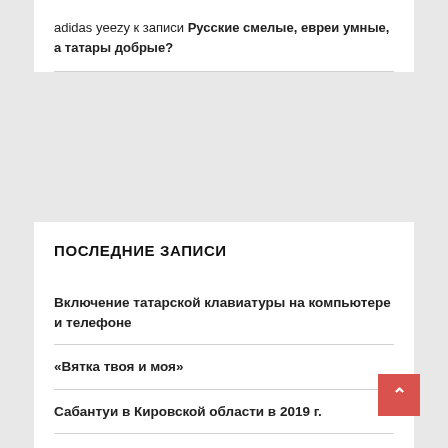adidas yeezy к записи Русские смелые, евреи умные, а татары добрые?
ПОСЛЕДНИЕ ЗАПИСИ
Включение татарской клавиатуры на компьютере и телефоне
«Вятка твоя и моя»
Сабантуи в Кировской области в 2019 г.
В память о Габдулле Тукае